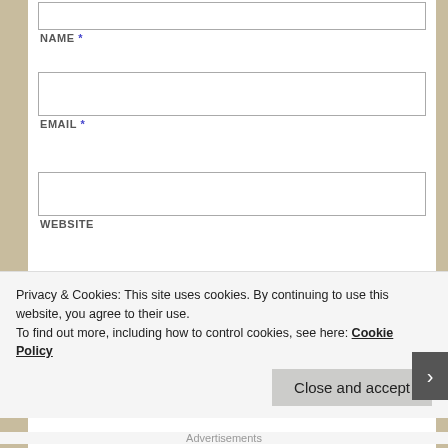NAME *
EMAIL *
WEBSITE
Save my name, email, and website in this browser for the next time I comment.
Privacy & Cookies: This site uses cookies. By continuing to use this website, you agree to their use.
To find out more, including how to control cookies, see here: Cookie Policy
Close and accept
Advertisements